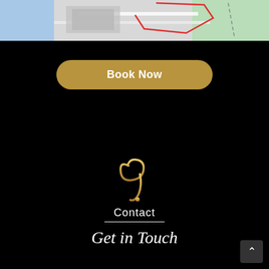[Figure (map): A partial map snippet showing roads, a water body (blue), green areas, and a red outlined region, cropped at the top of the page.]
Book Now
[Figure (logo): A stylized gold calligraphic symbol resembling a cursive letter or Arabic-style monogram with a dot, rendered in gold gradient color on black background.]
Contact
Get in Touch